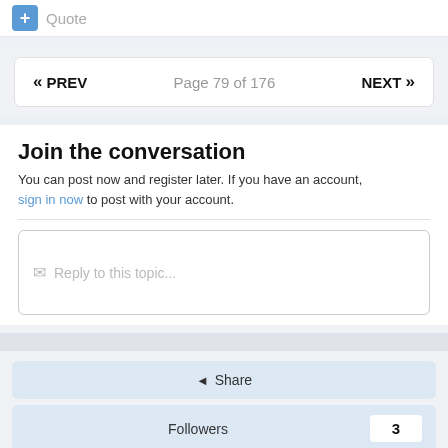+ Quote
« PREV   Page 79 of 176   NEXT »
Join the conversation
You can post now and register later. If you have an account, sign in now to post with your account.
Reply to this topic...
Share
Followers   3